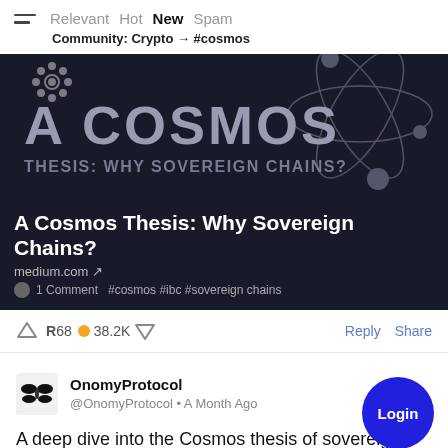Relevant  Hot  New  Spam
Community: Crypto → #cosmos
[Figure (illustration): Dark navy background banner image for article 'A Cosmos Thesis: Why Sovereign Chains?' showing large text 'A COSMOS' and 'THESIS: WHY SOVEREIGN CHAINS?' with atom/orbital graphic on the right and a snowflake-like icon top left.]
A Cosmos Thesis: Why Sovereign Chains?
medium.com ↗
1 Comment  #cosmos #ibc #sovereign chains
R68  38.2K
Reply  Share
OnomyProtocol
@OnomyProtocol • A Month Ago
A deep dive into the Cosmos thesis of sovereign